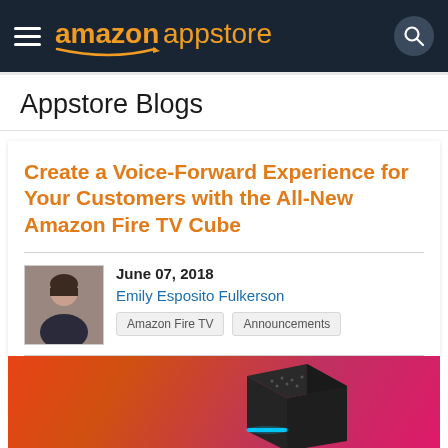amazon appstore
Appstore Blogs
Create a Voice-Forward Experience for Your Customers with the All-New Amazon Fire TV Cube
June 07, 2018
Emily Esposito Fulkerson
Amazon Fire TV  Announcements
[Figure (photo): Amazon Fire TV Cube device on gradient orange-to-pink background]